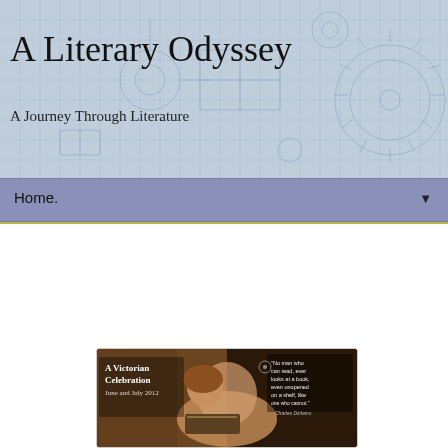A Literary Odyssey
A Journey Through Literature
Home. ▼
Thursday, June 14, 2012
Author Focus: George Eliot and Giveaway (A Victorian Celebration).
[Figure (photo): A Victorian Celebration event image for June and July 2012, featuring a Pre-Raphaelite style painting of a young girl reading a book, with a quote from Charles Dickens about reading on the right side.]